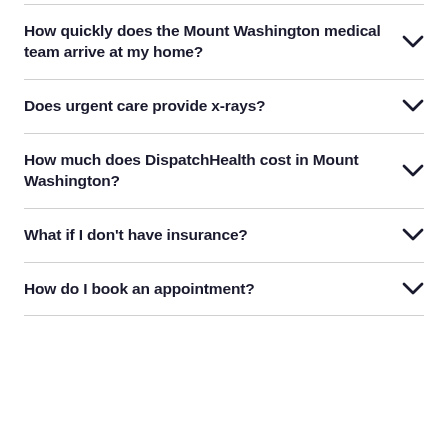How quickly does the Mount Washington medical team arrive at my home?
Does urgent care provide x-rays?
How much does DispatchHealth cost in Mount Washington?
What if I don't have insurance?
How do I book an appointment?